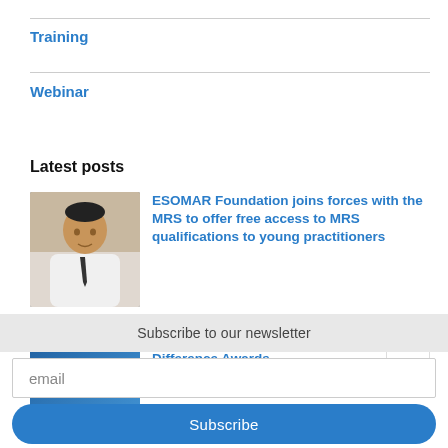Training
Webinar
Latest posts
[Figure (photo): Portrait photo of a young man in a white shirt and tie]
ESOMAR Foundation joins forces with the MRS to offer free access to MRS qualifications to young practitioners
[Figure (photo): Blue promotional image with text MAKING A DIFFERENCE]
Submit your entry for the 2022 Making Difference Awards
Subscribe to our newsletter
email
Subscribe